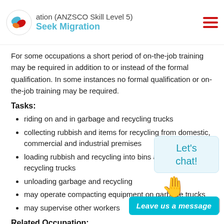ation (ANZSCO Skill Level 5) Seek Migration
For some occupations a short period of on-the-job training may be required in addition to or instead of the formal qualification. In some instances no formal qualification or on-the-job training may be required.
Tasks:
riding on and in garbage and recycling trucks
collecting rubbish and items for recycling from domestic, commercial and industrial premises
loading rubbish and recycling into bins and garbage and recycling trucks
unloading garbage and recycling
may operate compacting equipment on garbage trucks
may supervise other workers
Related Occupation: